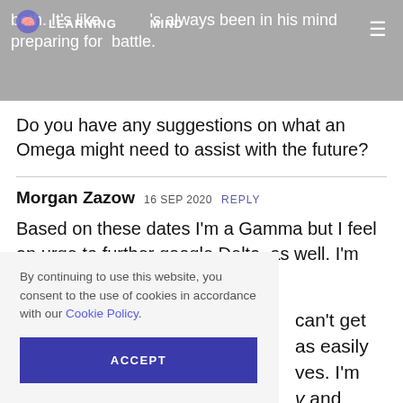both. It's like he's always been in his mind preparing for battle. LEARNING MIND
Do you have any suggestions on what an Omega might need to assist with the future?
Morgan Zazow  16 SEP 2020  REPLY
Based on these dates I'm a Gamma but I feel an urge to further google Delta, as well. I'm ... can't get ... as easily ... yes. I'm ... and ... start ...
By continuing to use this website, you consent to the use of cookies in accordance with our Cookie Policy.
ACCEPT